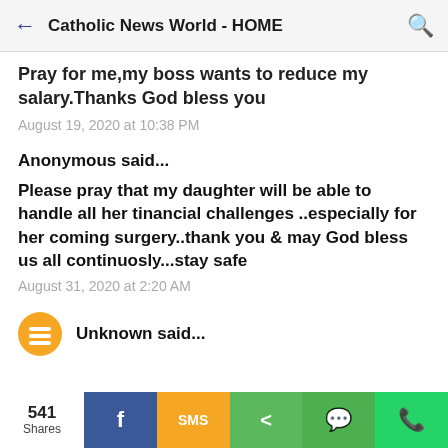Catholic News World - HOME
Pray for me,my boss wants to reduce my salary.Thanks God bless you
August 19, 2020 at 10:38 PM
Anonymous said...
Please pray that my daughter will be able to handle all her tinancial challenges ..especially for her coming surgery..thank you & may God bless us all continuosly...stay safe
August 31, 2020 at 2:20 AM
Unknown said...